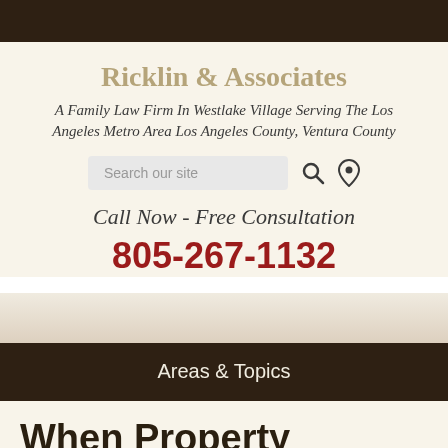Ricklin & Associates
A Family Law Firm In Westlake Village Serving The Los Angeles Metro Area Los Angeles County, Ventura County
Search our site
Call Now - Free Consultation
805-267-1132
Areas & Topics
When Property Division